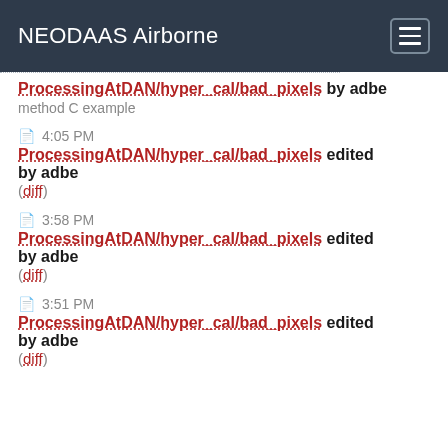NEODAAS Airborne
ProcessingAtDAN/hyper_cal/bad_pixels by adbe
method C example
4:05 PM
ProcessingAtDAN/hyper_cal/bad_pixels edited by adbe
(diff)
3:58 PM
ProcessingAtDAN/hyper_cal/bad_pixels edited by adbe
(diff)
3:51 PM
ProcessingAtDAN/hyper_cal/bad_pixels edited by adbe
(diff)